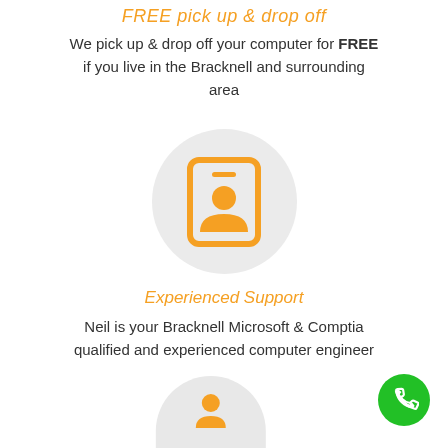FREE pick up & drop off
We pick up & drop off your computer for FREE if you live in the Bracknell and surrounding area
[Figure (illustration): Orange ID card / badge icon with person silhouette inside a rounded rectangle, on a light grey circle background]
Experienced Support
Neil is your Bracknell Microsoft & Comptia qualified and experienced computer engineer
[Figure (illustration): Green circular phone call button in bottom right corner with white phone handset icon]
[Figure (illustration): Partial grey circle visible at bottom of page with orange icon emerging from it]